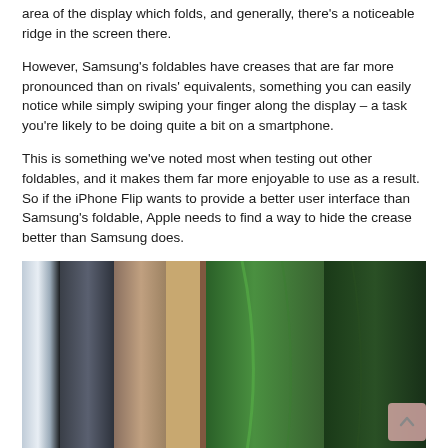area of the display which folds, and generally, there's a noticeable ridge in the screen there.
However, Samsung's foldables have creases that are far more pronounced than on rivals' equivalents, something you can easily notice while simply swiping your finger along the display – a task you're likely to be doing quite a bit on a smartphone.
This is something we've noted most when testing out other foldables, and it makes them far more enjoyable to use as a result. So if the iPhone Flip wants to provide a better user interface than Samsung's foldable, Apple needs to find a way to hide the crease better than Samsung does.
[Figure (photo): Close-up photo of several cylindrical or elongated objects – appears to show metallic and wooden rods/tubes alongside green leaves, arranged vertically in warm and cool tones.]